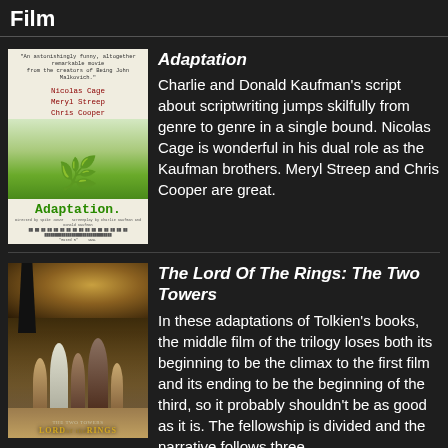Film
[Figure (photo): Movie poster for Adaptation featuring Nicolas Cage, Meryl Streep, Chris Cooper]
Adaptation
Charlie and Donald Kaufman's script about scriptwriting jumps skilfully from genre to genre in a single bound. Nicolas Cage is wonderful in his dual role as the Kaufman brothers. Meryl Streep and Chris Cooper are great.
[Figure (photo): Movie poster for The Lord of the Rings: The Two Towers]
The Lord Of The Rings: The Two Towers
In these adaptations of Tolkien's books, the middle film of the trilogy loses both its beginning to be the climax to the first film and its ending to be the beginning of the third, so it probably shouldn't be as good as it is. The fellowship is divided and the narrative follows three